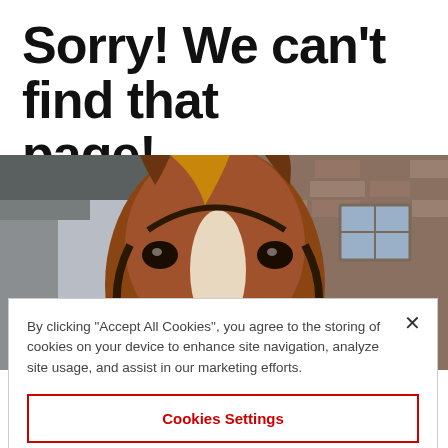Sorry! We can't find that page!
[Figure (photo): Close-up photo of a brown horse with a white blaze on its face looking directly at the camera, with a rustic stone building in the background]
By clicking “Accept All Cookies”, you agree to the storing of cookies on your device to enhance site navigation, analyze site usage, and assist in our marketing efforts.
Cookies Settings
Reject All